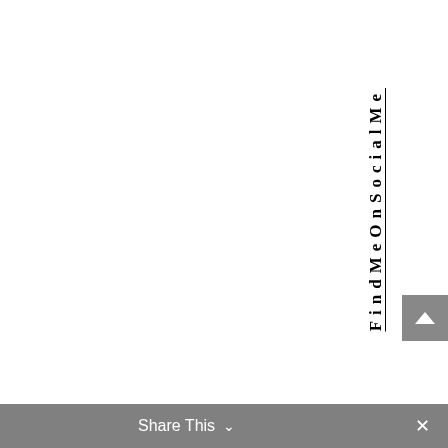FindMeOnSocialMe
Share This ∨  ✕